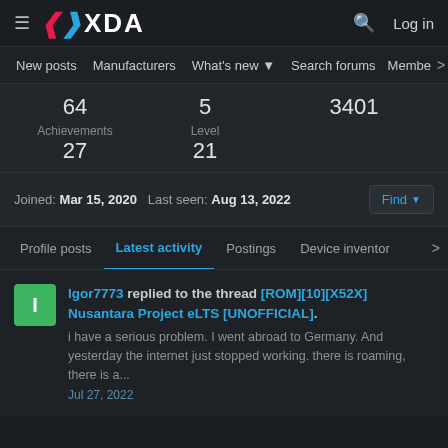XDA — Log in
New posts  Manufacturers  What's new  Search forums  Membe  >
64  5  3401
Achievements 27  Level 21
Joined: Mar 15, 2020  Last seen: Aug 13, 2022  Find
Profile posts  Latest activity  Postings  Device inventory  >
Igor7773 replied to the thread [ROM][10][X52X] Nusantara Project eLTS [UNOFFICIAL]. i have a serious problem. I went abroad to Germany. And yesterday the internet just stopped working. there is roaming, there is a...  Jul 27, 2022